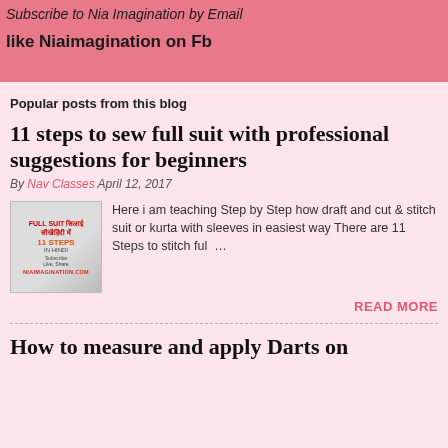Subscribe to Nia Imagination by Email
like Niaimagination on Fb
Popular posts from this blog
11 steps to sew full suit with professional suggestions for beginners
By Nav Classes April 12, 2017
[Figure (photo): Thumbnail image for sewing tutorial blog post showing a woman and text about full suit stitching steps]
Here i am teaching Step by Step how draft and cut & stitch suit or kurta with sleeves in easiest way There are 11 Steps to stitch ful…
READ MORE
How to measure and apply Darts on